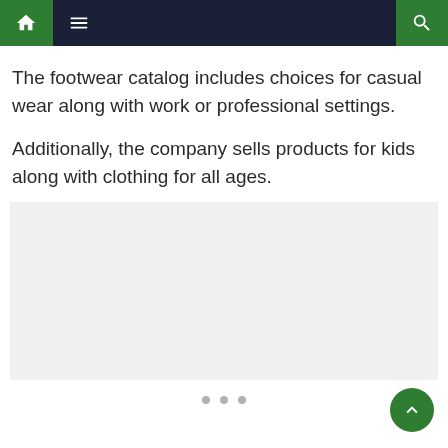Navigation bar with home, menu, and search icons
The footwear catalog includes choices for casual wear along with work or professional settings.
Additionally, the company sells products for kids along with clothing for all ages.
[Figure (other): Gray image placeholder area with three slider dots below it]
[Figure (other): Green circular back-to-top button with upward chevron arrow]